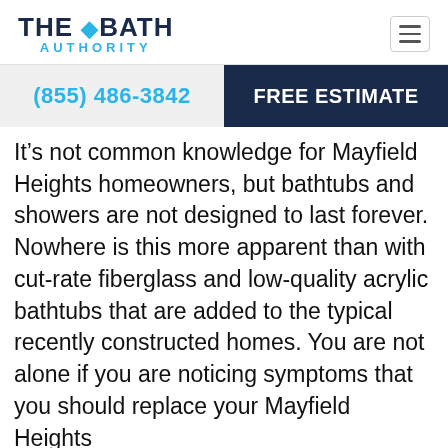THE BATH AUTHORITY
(855) 486-3842
FREE ESTIMATE
It’s not common knowledge for Mayfield Heights homeowners, but bathtubs and showers are not designed to last forever. Nowhere is this more apparent than with cut-rate fiberglass and low-quality acrylic bathtubs that are added to the typical recently constructed homes. You are not alone if you are noticing symptoms that you should replace your Mayfield Heights